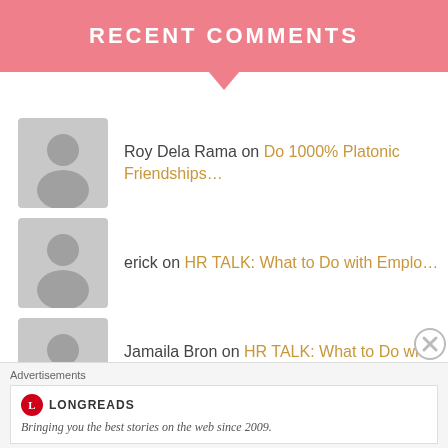RECENT COMMENTS
Roy Dela Rama on Do 1000% Platonic Friendships…
erick on HR TALK: What to Do with Emplo…
Jamaila Bron on HR TALK: What to Do with Emplo…
Tina in Manila on HR TALK: What to Do with Emplo…
Jamaila Bron on HR TALK: What to Do with Emplo…
Advertisements
[Figure (logo): Longreads logo with text: Bringing you the best stories on the web since 2009.]